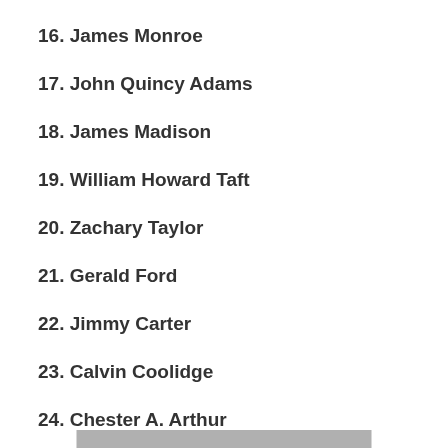16. James Monroe
17. John Quincy Adams
18. James Madison
19. William Howard Taft
20. Zachary Taylor
21. Gerald Ford
22. Jimmy Carter
23. Calvin Coolidge
24. Chester A. Arthur